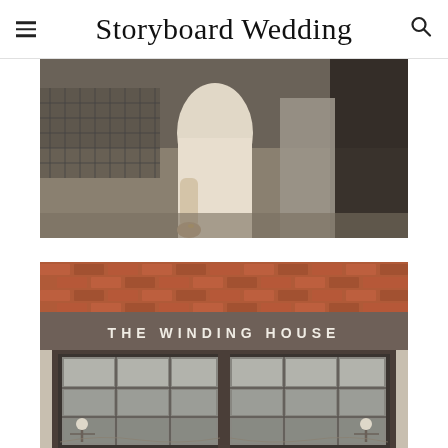Storyboard Wedding
[Figure (photo): Close-up photo of a bride in a cream/ivory satin dress with a groom in grey suit, standing near a metal railing. The bride's hand with a ring is visible.]
[Figure (photo): Exterior photo of The Winding House venue showing brick arch entrance with white lettering 'THE WINDING HOUSE' above large glass-panel doors with industrial-style lighting fixtures.]